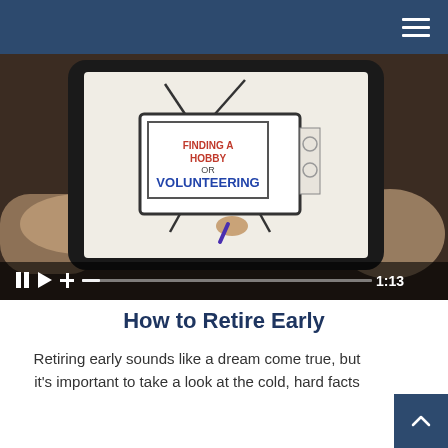[Figure (screenshot): A video thumbnail showing hands holding a smartphone. The phone screen displays a whiteboard animation of a TV set with the text 'FINDING A HOBBY OR VOLUNTEERING' drawn on it. A video progress bar at the bottom shows playback controls (pause, play, plus) and a timestamp of 1:13.]
How to Retire Early
Retiring early sounds like a dream come true, but it's important to take a look at the cold, hard facts